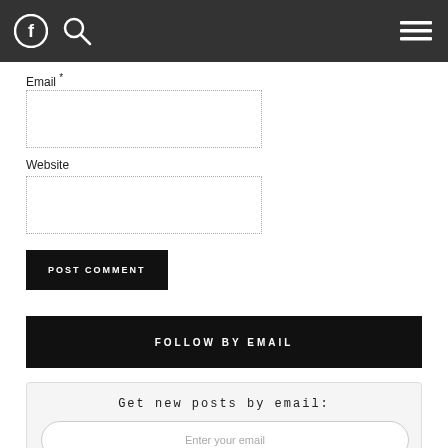Facebook icon, Search icon, Hamburger menu icon
Email *
Website
POST COMMENT
FOLLOW BY EMAIL
Get new posts by email:
Enter your email